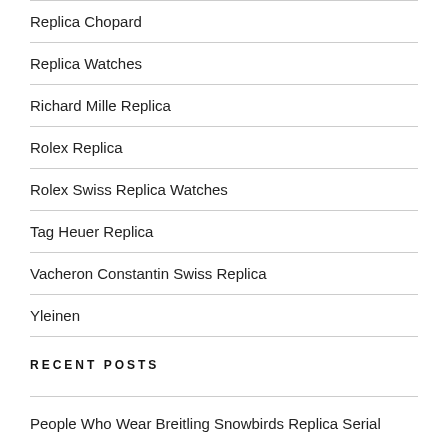Replica Chopard
Replica Watches
Richard Mille Replica
Rolex Replica
Rolex Swiss Replica Watches
Tag Heuer Replica
Vacheron Constantin Swiss Replica
Yleinen
RECENT POSTS
People Who Wear Breitling Snowbirds Replica Serial